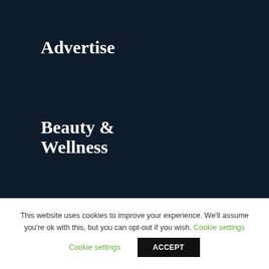Advertise
Beauty & Wellness
Business Services
Education
This website uses cookies to improve your experience. We'll assume you're ok with this, but you can opt-out if you wish. Cookie settings ACCEPT